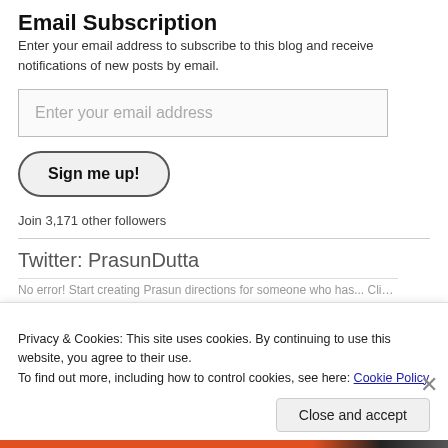Email Subscription
Enter your email address to subscribe to this blog and receive notifications of new posts by email.
[Figure (other): Email input field with placeholder text 'Enter your email address']
[Figure (other): Sign me up! button with rounded border]
Join 3,171 other followers
Twitter: PrasunDutta
Privacy & Cookies: This site uses cookies. By continuing to use this website, you agree to their use.
To find out more, including how to control cookies, see here: Cookie Policy
Close and accept